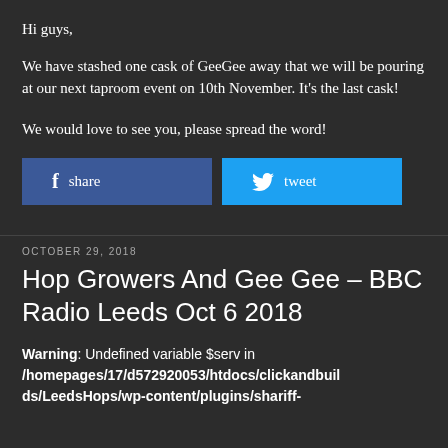Hi guys,
We have stashed one cask of GeeGee away that we will be pouring at our next taproom event on 10th November. It's the last cask!
We would love to see you, please spread the word!
[Figure (other): Facebook share button and Twitter tweet button]
OCTOBER 29, 2018
Hop Growers And Gee Gee – BBC Radio Leeds Oct 6 2018
Warning: Undefined variable $serv in /homepages/17/d572920053/htdocs/clickandbuilds/LeedsHops/wp-content/plugins/shariff-